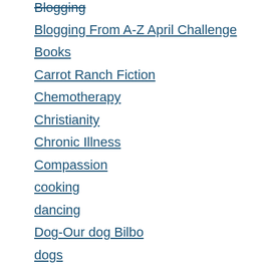Blogging
Blogging From A-Z April Challenge
Books
Carrot Ranch Fiction
Chemotherapy
Christianity
Chronic Illness
Compassion
cooking
dancing
Dog-Our dog Bilbo
dogs
Ethel Turner
Friday Fictioneers
Health
Humour
Kids learn to Cook
Love
music